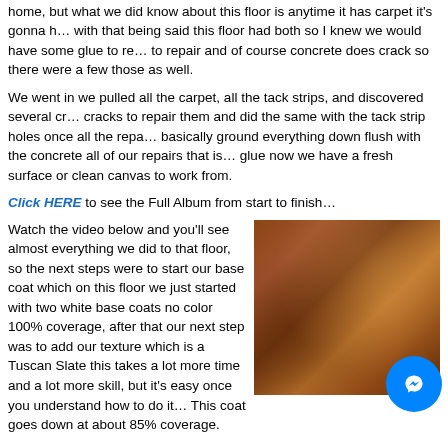home, but what we did know about this floor is anytime it has carpet it's gonna h... with that being said this floor had both so I knew we would have some glue to re... to repair and of course concrete does crack so there were a few those as well.
We went in we pulled all the carpet, all the tack strips, and discovered several cr... cracks to repair them and did the same with the tack strip holes once all the repa... basically ground everything down flush with the concrete all of our repairs that is... glue now we have a fresh surface or clean canvas to work from.
Click HERE to see the Full Album from start to finish…
Watch the video below and you'll see almost everything we did to that floor, so the next steps were to start our base coat which on this floor we just started with two white base coats no color 100% coverage, after that our next step was to add our texture which is a Tuscan Slate this takes a lot more time and a lot more skill, but it's easy once you understand how to do it… This coat goes down at about 85% coverage.
[Figure (photo): Photo of a concrete floor with brown/amber acid stain texture showing Tuscan Slate finish]
So after the textures down we want to add are ACID STAINS, but obviously first... everything off with paper because we do spray our acid stains, th... gettin... Umber color and the other is a Brown Acid Stain, most of the tim... et thi... takes 2 to 3 coats of acid stain per color to get the right marbling a... ect sha...
Now that the Acid Stains are down we just gotta let it do its thing and come ba...